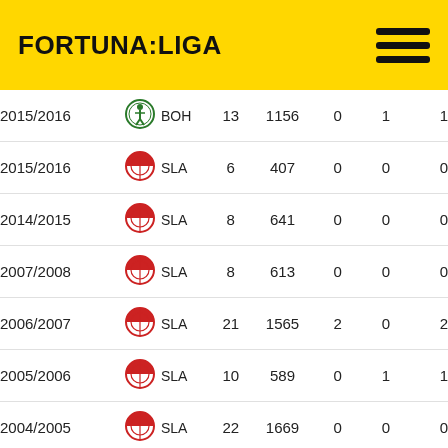FORTUNA:LIGA
| Season | Team |  | Apps | Mins | G1 | G2 | G3 |
| --- | --- | --- | --- | --- | --- | --- | --- |
| 2015/2016 | BOH |  | 13 | 1156 | 0 | 1 | 1 |
| 2015/2016 | SLA |  | 6 | 407 | 0 | 0 | 0 |
| 2014/2015 | SLA |  | 8 | 641 | 0 | 0 | 0 |
| 2007/2008 | SLA |  | 8 | 613 | 0 | 0 | 0 |
| 2006/2007 | SLA |  | 21 | 1565 | 2 | 0 | 2 |
| 2005/2006 | SLA |  | 10 | 589 | 0 | 1 | 1 |
| 2004/2005 | SLA |  | 22 | 1669 | 0 | 0 | 0 |
| 2003/2004 | SLA |  | 6 | 356 | 0 | 0 | 0 |
| Total |  |  | 134 | 9801 | 2 | 2 | 4 |